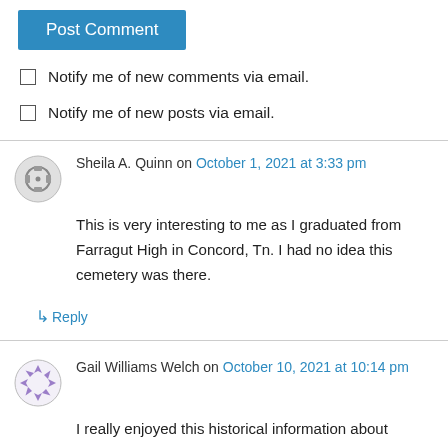Post Comment
Notify me of new comments via email.
Notify me of new posts via email.
Sheila A. Quinn on October 1, 2021 at 3:33 pm
This is very interesting to me as I graduated from Farragut High in Concord, Tn. I had no idea this cemetery was there.
↳ Reply
Gail Williams Welch on October 10, 2021 at 10:14 pm
I really enjoyed this historical information about